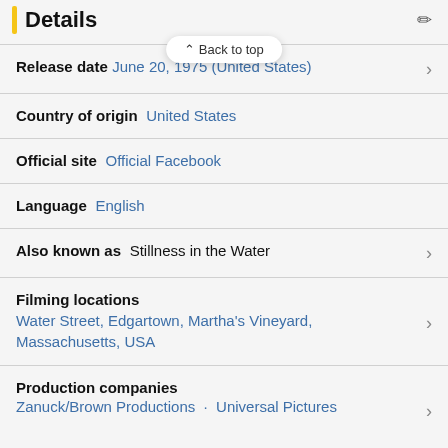Details
Back to top
Release date   June 20, 1975 (United States)
Country of origin   United States
Official site   Official Facebook
Language   English
Also known as   Stillness in the Water
Filming locations
Water Street, Edgartown, Martha's Vineyard, Massachusetts, USA
Production companies
Zanuck/Brown Productions · Universal Pictures